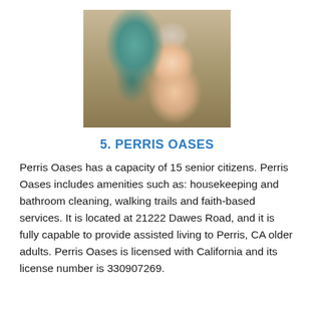[Figure (photo): Caregiver leaning in close to an elderly woman who is smiling, in a home setting]
5. PERRIS OASES
Perris Oases has a capacity of 15 senior citizens. Perris Oases includes amenities such as: housekeeping and bathroom cleaning, walking trails and faith-based services. It is located at 21222 Dawes Road, and it is fully capable to provide assisted living to Perris, CA older adults. Perris Oases is licensed with California and its license number is 330907269.